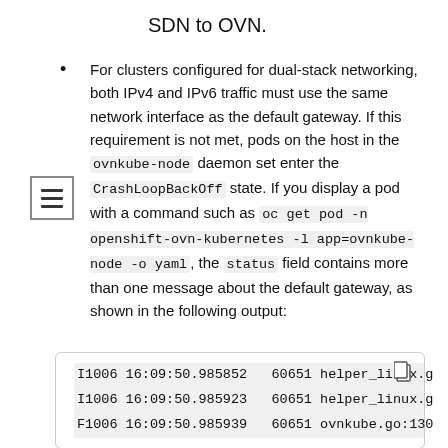SDN to OVN.
For clusters configured for dual-stack networking, both IPv4 and IPv6 traffic must use the same network interface as the default gateway. If this requirement is not met, pods on the host in the ovnkube-node daemon set enter the CrashLoopBackOff state. If you display a pod with a command such as oc get pod -n openshift-ovn-kubernetes -l app=ovnkube-node -o yaml, the status field contains more than one message about the default gateway, as shown in the following output:
[Figure (screenshot): Code block showing log output: I1006 16:09:50.985852 60651 helper_linux.g, I1006 16:09:50.985923 60651 helper_linux.g, F1006 16:09:50.985939 60651 ovnkube.go:130]